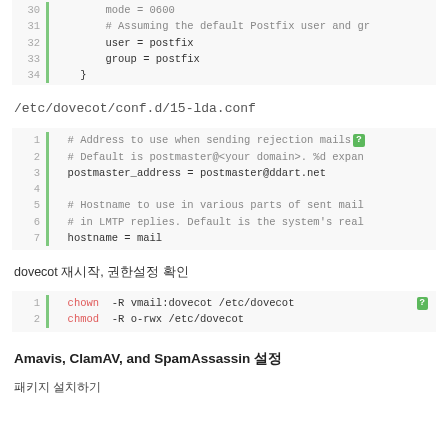[Figure (screenshot): Code block showing lines 30-34 of a config file with line numbers and green bar, content: mode=0600, comment about Postfix user/group, user=postfix, group=postfix, closing brace]
/etc/dovecot/conf.d/15-lda.conf
[Figure (screenshot): Code block lines 1-7 of /etc/dovecot/conf.d/15-lda.conf: comments and settings for postmaster_address and hostname]
dovecot 재시작, 권한설정 확인
[Figure (screenshot): Code block lines 1-2: chown -R vmail:dovecot /etc/dovecot and chmod -R o-rwx /etc/dovecot]
Amavis, ClamAV, and SpamAssassin 설정
패키지 설치하기